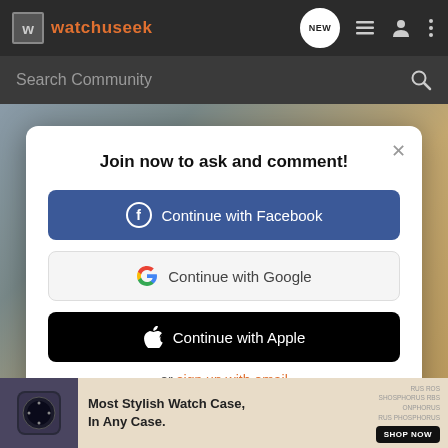watchuseek
Search Community
[Figure (screenshot): Background photograph of denim fabric and tan/brown material]
Join now to ask and comment!
Continue with Facebook
Continue with Google
Continue with Apple
or sign up with email
Most Stylish Watch Case, In Any Case.
SHOP NOW